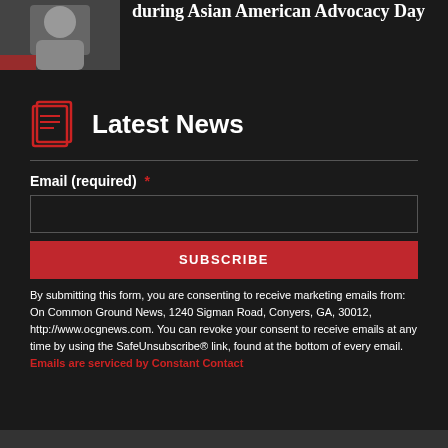[Figure (photo): Partial photo of a person in a suit, cropped at left side of top section]
during Asian American Advocacy Day
Latest News
Email (required) *
SUBSCRIBE
By submitting this form, you are consenting to receive marketing emails from: On Common Ground News, 1240 Sigman Road, Conyers, GA, 30012, http://www.ocgnews.com. You can revoke your consent to receive emails at any time by using the SafeUnsubscribe® link, found at the bottom of every email. Emails are serviced by Constant Contact